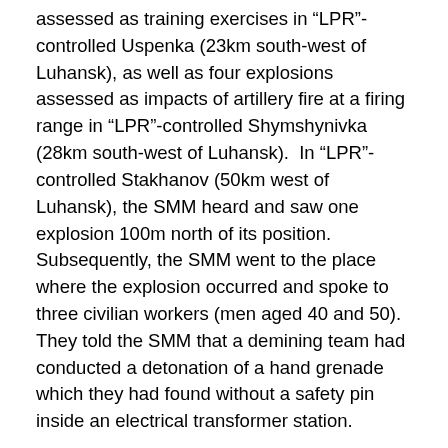assessed as training exercises in “LPR”-controlled Uspenka (23km south-west of Luhansk), as well as four explosions assessed as impacts of artillery fire at a firing range in “LPR”-controlled Shymshynivka (28km south-west of Luhansk). In “LPR”-controlled Stakhanov (50km west of Luhansk), the SMM heard and saw one explosion 100m north of its position. Subsequently, the SMM went to the place where the explosion occurred and spoke to three civilian workers (men aged 40 and 50). They told the SMM that a demining team had conducted a detonation of a hand grenade which they had found without a safety pin inside an electrical transformer station.
The SMM followed up on reports of shelling on both sides of the contact line. In government-controlled Pisky (11km north-west of Donetsk), the SMM saw four relatively fresh craters consistent with 120mm mortar rounds in a garden of the villa occupied by solders and assessed to have been fired from a south-easterly direction. A Ukrainian Armed Forces Commander told the SMM that shelling had occurred during the night of 6